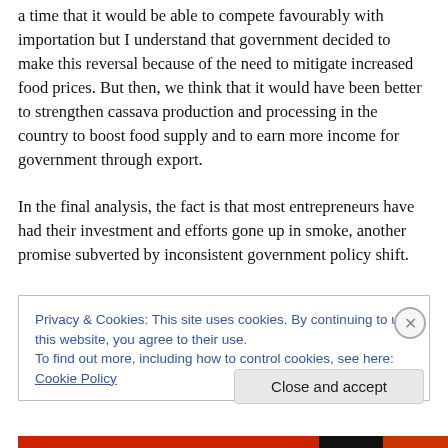a time that it would be able to compete favourably with importation but I understand that government decided to make this reversal because of the need to mitigate increased food prices. But then, we think that it would have been better to strengthen cassava production and processing in the country to boost food supply and to earn more income for government through export.
In the final analysis, the fact is that most entrepreneurs have had their investment and efforts gone up in smoke, another promise subverted by inconsistent government policy shift.
Privacy & Cookies: This site uses cookies. By continuing to use this website, you agree to their use.
To find out more, including how to control cookies, see here: Cookie Policy
Close and accept